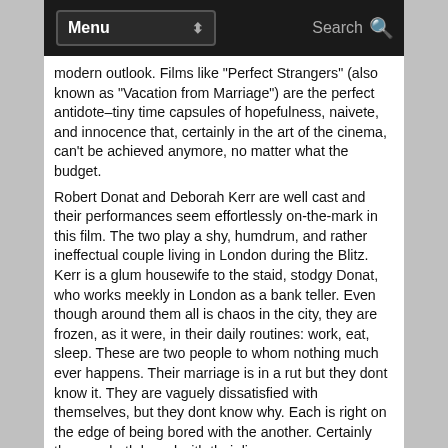Menu | Search
modern outlook. Films like "Perfect Strangers" (also known as "Vacation from Marriage") are the perfect antidote–tiny time capsules of hopefulness, naivete, and innocence that, certainly in the art of the cinema, can't be achieved anymore, no matter what the budget.
Robert Donat and Deborah Kerr are well cast and their performances seem effortlessly on-the-mark in this film. The two play a shy, humdrum, and rather ineffectual couple living in London during the Blitz. Kerr is a glum housewife to the staid, stodgy Donat, who works meekly in London as a bank teller. Even though around them all is chaos in the city, they are frozen, as it were, in their daily routines: work, eat, sleep. These are two people to whom nothing much ever happens. Their marriage is in a rut but they dont know it. They are vaguely dissatisfied with themselves, but they dont know why. Each is right on the edge of being bored with the another. Certainly they are both bored with their lives.
(This is one of those couples of a type that one still encounters today–a pair of simple, unimaginative souls that, in the first flush of romance, dont envision needing anything more out of life than being married to each other).
But their dull routines are suddenly shaken up by wartime events–both are unexpectedly called to active service. This turn of events falls like a bolt of